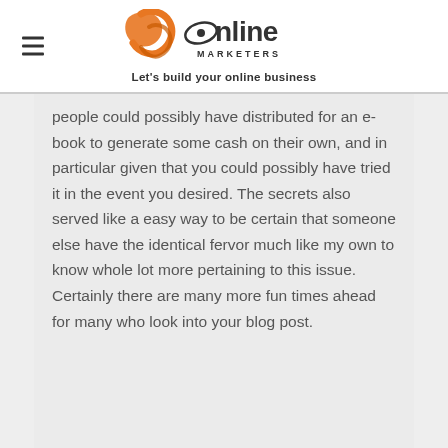JR Online Marketers — Let's build your online business
people could possibly have distributed for an e-book to generate some cash on their own, and in particular given that you could possibly have tried it in the event you desired. The secrets also served like a easy way to be certain that someone else have the identical fervor much like my own to know whole lot more pertaining to this issue. Certainly there are many more fun times ahead for many who look into your blog post.